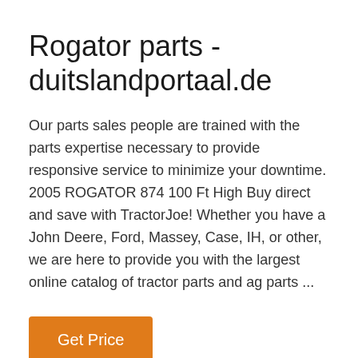Rogator parts - duitslandportaal.de
Our parts sales people are trained with the parts expertise necessary to provide responsive service to minimize your downtime. 2005 ROGATOR 874 100 Ft High Buy direct and save with TractorJoe! Whether you have a John Deere, Ford, Massey, Case, IH, or other, we are here to provide you with the largest online catalog of tractor parts and ag parts ...
Get Price